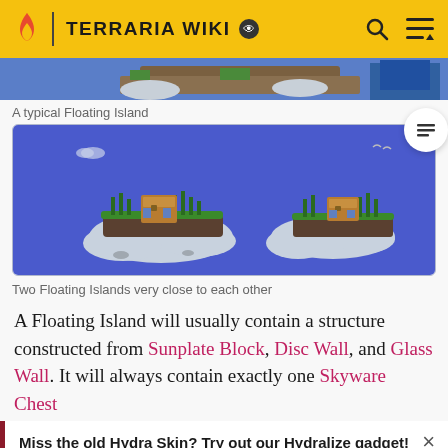TERRARIA WIKI
[Figure (screenshot): Top strip showing a typical Floating Island - pixelated game screenshot with blue sky, terrain]
A typical Floating Island
[Figure (screenshot): Two Floating Islands very close to each other - pixelated Terraria game screenshot showing two islands with structures on blue sky background]
Two Floating Islands very close to each other
A Floating Island will usually contain a structure constructed from Sunplate Block, Disc Wall, and Glass Wall. It will always contain exactly one Skyware Chest
Miss the old Hydra Skin? Try out our Hydralize gadget! Visit the preferences page while logged in and turn on the gadget.